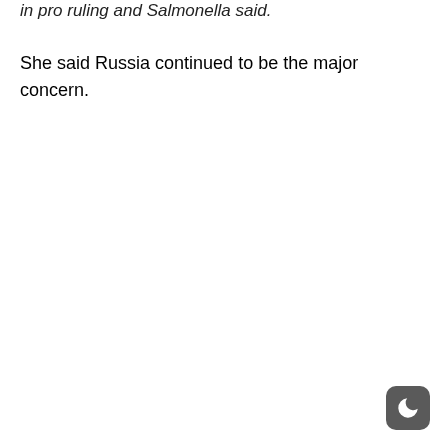in pro ruling and Salmonella said.
She said Russia continued to be the major concern.
[Figure (other): Dark mode toggle button with moon icon in bottom-right corner]